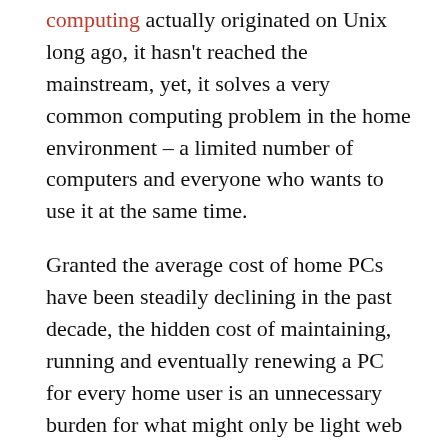computing actually originated on Unix long ago, it hasn't reached the mainstream, yet, it solves a very common computing problem in the home environment – a limited number of computers and everyone who wants to use it at the same time.
Granted the average cost of home PCs have been steadily declining in the past decade, the hidden cost of maintaining, running and eventually renewing a PC for every home user is an unnecessary burden for what might only be light web browsing and emails.
Whilst thin-client solutions has worked well for the enterprise, the complexity doesn't really make sense for a home. Furthermore, unless CPUs, memory and motherboards becomes free, then no thin-client can ever match multiseat computing by cost.